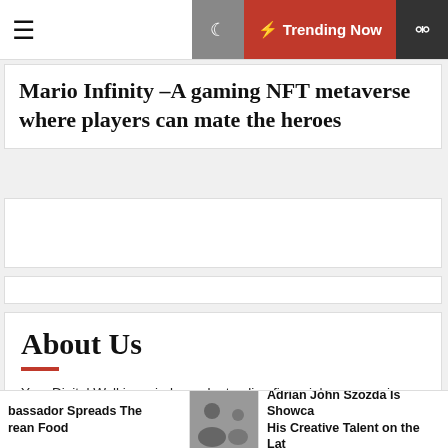☰ 🌙 ⚡ Trending Now 🔍
Mario Infinity –A gaming NFT metaverse where players can mate the heroes
[Figure (other): Advertisement placeholder block 1]
[Figure (other): Advertisement placeholder block 2]
About Us
Your Digital Wall is an independent online financial news service. Key employees of our company are professionals in the field of business, finance and stock markets. Our writing team works diligently to cover breaking financial news stories and provide unique analysis of important financial events that
bassador Spreads The rean Food | Adrian John Szozda Is Showca His Creative Talent on the Lat